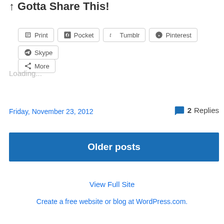↑ Gotta Share This!
[Figure (screenshot): Social share buttons row: Print, Pocket, Tumblr, Pinterest, Skype, and More]
Loading...
Friday, November 23, 2012
💬 2 Replies
Older posts
View Full Site
Create a free website or blog at WordPress.com.